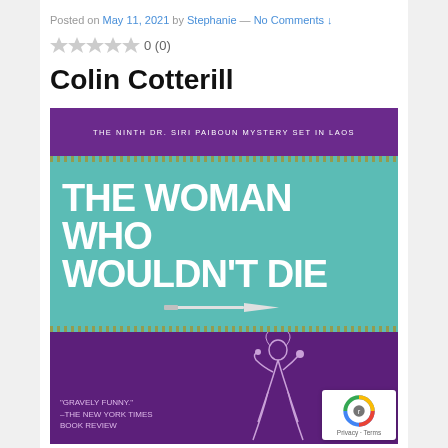Posted on May 11, 2021 by Stephanie — No Comments ↓
0 (0)
Colin Cotterill
[Figure (photo): Book cover of 'The Woman Who Wouldn't Die' by Colin Cotterill, the ninth Dr. Siri Paiboun mystery set in Laos. Purple background with teal center section displaying the title in large white text. A white illustrated figure of a woman with raised arm at the bottom. Blurb reads: 'Gravely Funny.' — The New York Times Book Review]